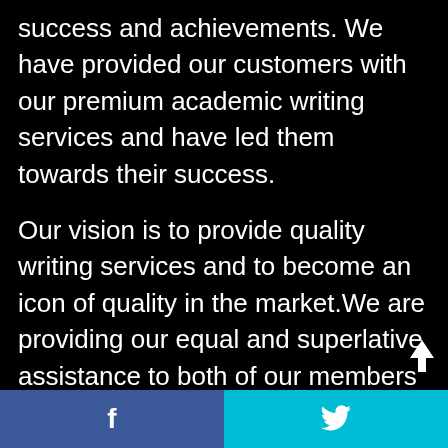success and achievements. We have provided our customers with our premium academic writing services and have led them towards their success.
Our vision is to provide quality writing services and to become an icon of quality in the market.We are providing our equal and superlative assistance to both of our members and new customers. Our services: Essay, Dissertation, Coursework, Assignment, Thesis, Research Paper, Term Paper, Book Report, CV Writing, Article Writing, Case Study, Website & Blog Writing.
f  (Twitter bird icon)